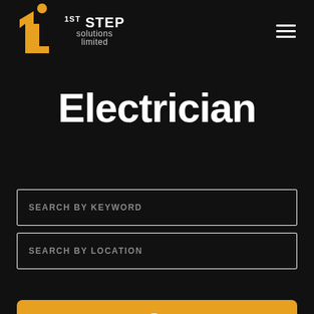[Figure (logo): 1st Step Solutions Limited logo — orange/gold numeral '1' with a circular head element, next to bold white '1ST STEP' text and 'solutions limited' subtitle]
Electrician
SEARCH BY KEYWORD
SEARCH BY LOCATION
[Figure (other): Golden/orange search button with a white magnifying glass icon]